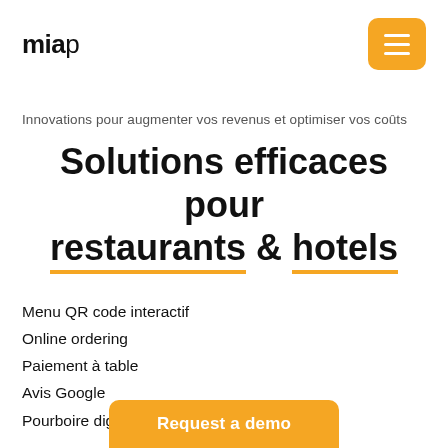miap
Innovations pour augmenter vos revenus et optimiser vos coûts
Solutions efficaces pour restaurants & hotels
Menu QR code interactif
Online ordering
Paiement à table
Avis Google
Pourboire digitalisé
Request a demo